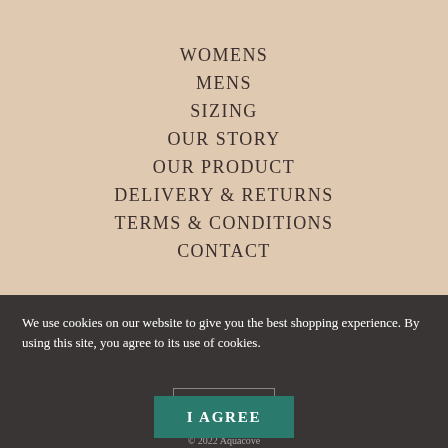WOMENS
MENS
SIZING
OUR STORY
OUR PRODUCT
DELIVERY & RETURNS
TERMS & CONDITIONS
CONTACT
We use cookies on our website to give you the best shopping experience. By using this site, you agree to its use of cookies.
AUD
I AGREE
© 2022 Aquacove